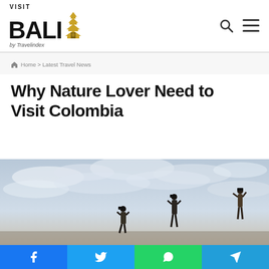VISIT BALI by Travelindex
Home > Latest Travel News
Why Nature Lover Need to Visit Colombia
[Figure (photo): Three people looking through binoculars against a cloudy sky — birdwatching or wildlife observation scene]
Facebook | Twitter | WhatsApp | Telegram share buttons